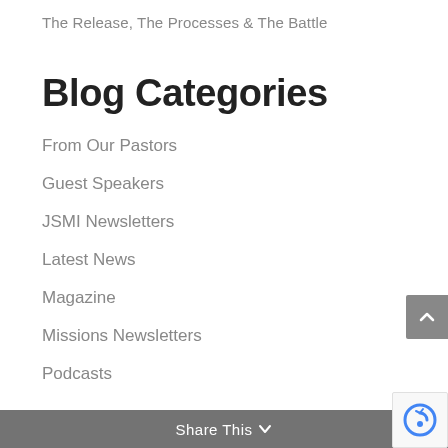The Release, The Processes & The Battle
Blog Categories
From Our Pastors
Guest Speakers
JSMI Newsletters
Latest News
Magazine
Missions Newsletters
Podcasts
Share This ∨